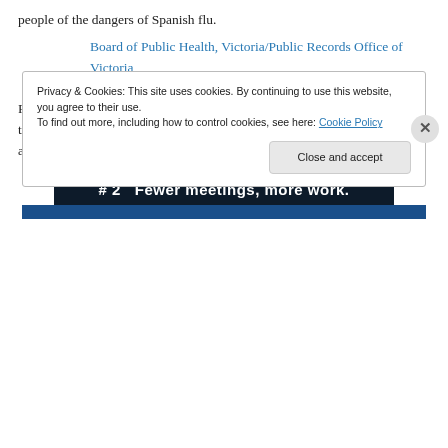people of the dangers of Spanish flu.
Board of Public Health, Victoria/Public Records Office of Victoria
Responses within Australia varied from state to state but the crisis often led to the closure of schools, churches, theatres, pubs, race meetings and agricultural shows, plus the delay of victory celebrations.
[Figure (screenshot): Dark advertisement banner with bold white text reading '# 2   Fewer meetings, more work.']
REPORT THIS AD
Privacy & Cookies: This site uses cookies. By continuing to use this website, you agree to their use.
To find out more, including how to control cookies, see here: Cookie Policy
Close and accept